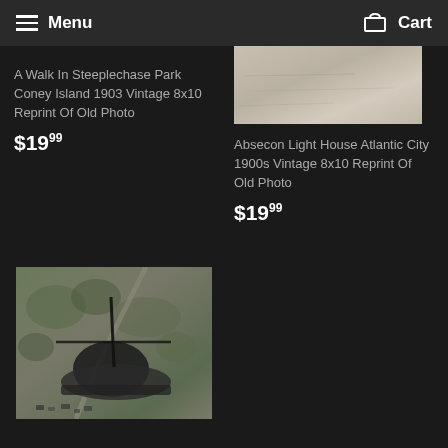Menu  Cart
A Walk In Steeplechase Park Coney Island 1903 Vintage 8x10 Reprint Of Old Photo
$19.99
[Figure (photo): Vintage photo of Absecon Lighthouse Atlantic City 1900s, sandy/light-toned landscape]
Absecon Light House Atlantic City 1900s Vintage 8x10 Reprint Of Old Photo
$19.99
[Figure (photo): Black and white aerial photo of a propeller airplane flying over a landscape with trees and roads]